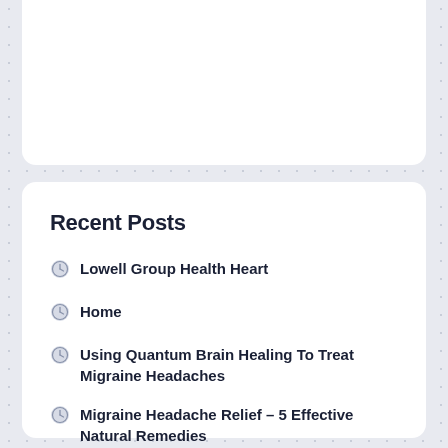Recent Posts
Lowell Group Health Heart
Home
Using Quantum Brain Healing To Treat Migraine Headaches
Migraine Headache Relief – 5 Effective Natural Remedies
Salt Makes Fats Round The Heart